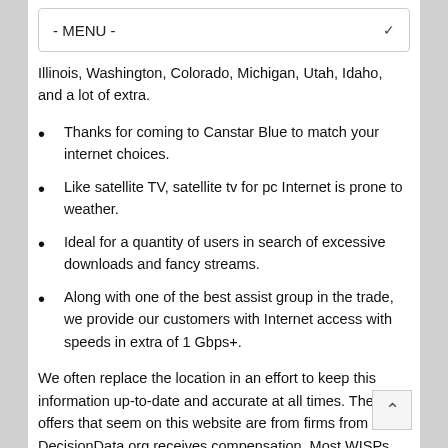- MENU -
Illinois, Washington, Colorado, Michigan, Utah, Idaho, and a lot of extra.
Thanks for coming to Canstar Blue to match your internet choices.
Like satellite TV, satellite tv for pc Internet is prone to weather.
Ideal for a quantity of users in search of excessive downloads and fancy streams.
Along with one of the best assist group in the trade, we provide our customers with Internet access with speeds in extra of 1 Gbps+.
We often replace the location in an effort to keep this information up-to-date and accurate at all times. The offers that seem on this website are from firms from which DecisionData.org receives compensation. Most WISPs are small and medium-sized companies led by